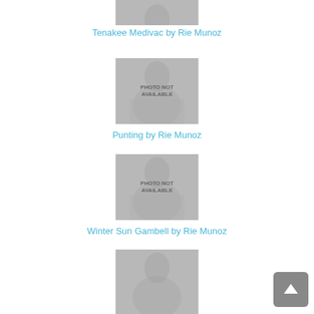[Figure (photo): Photo not available placeholder image (Mona Lisa watermark) - top, partially cropped]
Tenakee Medivac by Rie Munoz
[Figure (photo): Photo not available placeholder image (Mona Lisa watermark)]
Punting by Rie Munoz
[Figure (photo): Photo not available placeholder image (Mona Lisa watermark)]
Winter Sun Gambell by Rie Munoz
[Figure (photo): Photo not available placeholder image (Mona Lisa watermark) - bottom, partially cropped]